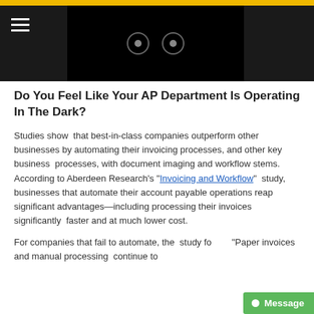[Figure (screenshot): Navigation bar with hamburger menu on dark background and embedded video player with play controls]
Do You Feel Like Your AP Department Is Operating In The Dark?
Studies show that best-in-class companies outperform other businesses by automating their invoicing processes, and other key business processes, with document imaging and workflow stems. According to Aberdeen Research's "Invoicing and Workflow" study, businesses that automate their account payable operations reap significant advantages—including processing their invoices significantly faster and at much lower cost.
For companies that fail to automate, the study found: "Paper invoices and manual processing continue to